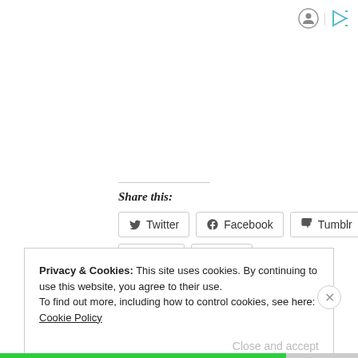[Figure (other): Header icons: a circular avatar icon and a green play/forward icon separated by a vertical bar]
Share this:
[Figure (other): Social share buttons: Twitter, Facebook, Tumblr, Email, Print]
Loading...
Privacy & Cookies: This site uses cookies. By continuing to use this website, you agree to their use.
To find out more, including how to control cookies, see here: Cookie Policy
Close and accept